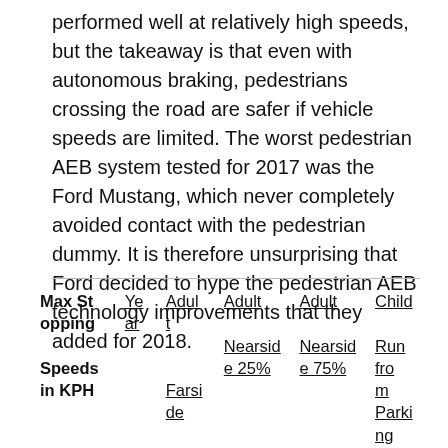performed well at relatively high speeds, but the takeaway is that even with autonomous braking, pedestrians crossing the road are safer if vehicle speeds are limited. The worst pedestrian AEB system tested for 2017 was the Ford Mustang, which never completely avoided contact with the pedestrian dummy. It is therefore unsurprising that Ford decided to hype the pedestrian AEB technology improvements that they added for 2018.
| Max Stopping Speeds in KPH | Year | Adult Farside | Adult Nearside 25% | Adult Nearside 75% | Child Run from Parking |
| --- | --- | --- | --- | --- | --- |